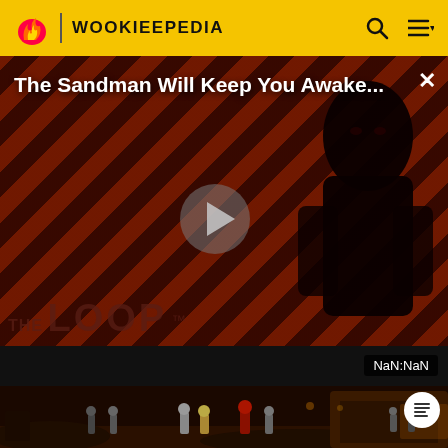WOOKIEEPEDIA
[Figure (screenshot): Video advertisement overlay with diagonal red/brown stripes background, dark figure silhouette on right, text 'The Sandman Will Keep You Awake...' at top, play button in center, THE LOOP text at bottom, NaN:NaN timer, and X close button]
[Figure (screenshot): Wookieepedia scene screenshot showing Star Wars characters (clone troopers and others) in a dark reddish environment, with a white circular icon in the top right corner]